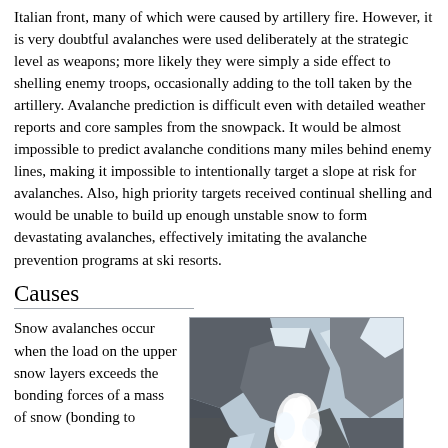Italian front, many of which were caused by artillery fire. However, it is very doubtful avalanches were used deliberately at the strategic level as weapons; more likely they were simply a side effect to shelling enemy troops, occasionally adding to the toll taken by the artillery. Avalanche prediction is difficult even with detailed weather reports and core samples from the snowpack. It would be almost impossible to predict avalanche conditions many miles behind enemy lines, making it impossible to intentionally target a slope at risk for avalanches. Also, high priority targets received continual shelling and would be unable to build up enough unstable snow to form devastating avalanches, effectively imitating the avalanche prevention programs at ski resorts.
Causes
Snow avalanches occur when the load on the upper snow layers exceeds the bonding forces of a mass of snow (bonding to
[Figure (photo): A photograph of an avalanche in a mountain valley with steep rocky cliffs and snow-covered slopes. A white cloud of snow dust is visible in the middle of the image descending a steep rocky mountain face.]